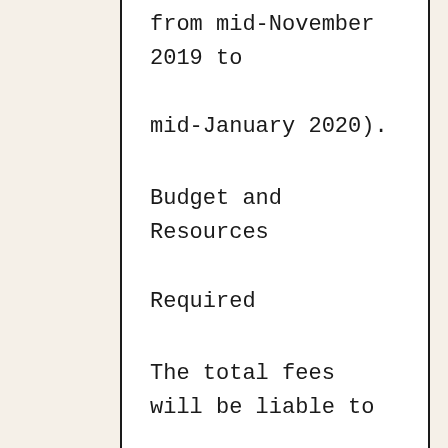from mid-November 2019 to mid-January 2020).
Budget and Resources Required
The total fees will be liable to government tax (es). Payments will be made as follows: 40% upon submission of the inception report, 40 % on